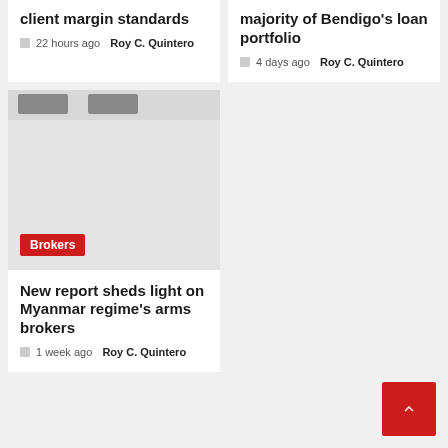client margin standards
🕐 22 hours ago  Roy C. Quintero
majority of Bendigo's loan portfolio
🕐 4 days ago  Roy C. Quintero
[Figure (photo): Image with a Brokers category tag in red at bottom left, showing partial product/objects at the top against a light grey background]
New report sheds light on Myanmar regime's arms brokers
🕐 1 week ago  Roy C. Quintero